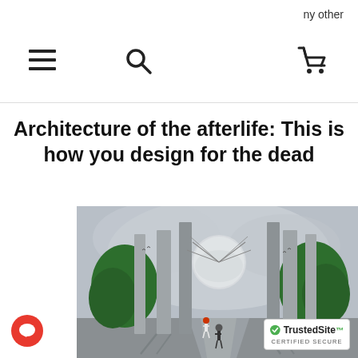ny other
Architecture of the afterlife: This is how you design for the dead
[Figure (photo): Architectural rendering of a futuristic mausoleum or memorial structure with tall concrete columns, a large spherical dome in the center, cable stays, green trees, and two human figures walking on a pathway in the foreground under a dramatic cloudy sky.]